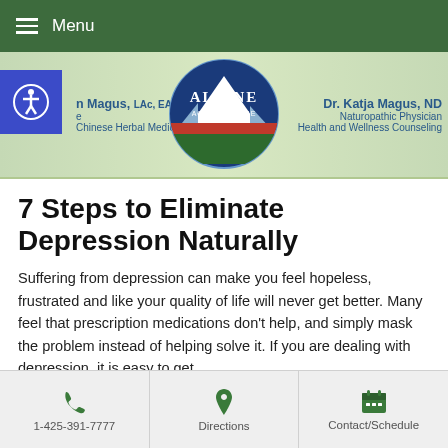Menu
[Figure (logo): Alpine Acupuncture circular logo with mountain and red/green/blue design. Left side: practitioner name with LAc, EAMP credentials and Chinese Herbal Medicine. Right side: Dr. Katja Magus, ND, Naturopathic Physician, Health and Wellness Counseling. Accessibility button on far left.]
7 Steps to Eliminate Depression Naturally
Suffering from depression can make you feel hopeless, frustrated and like your quality of life will never get better. Many feel that prescription medications don't help, and simply mask the problem instead of helping solve it. If you are dealing with depression, it is easy to get
1-425-391-7777 | Directions | Contact/Schedule